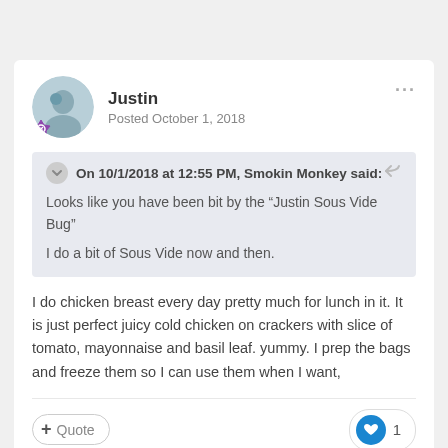Justin
Posted October 1, 2018
On 10/1/2018 at 12:55 PM, Smokin Monkey said:
Looks like you have been bit by the “Justin Sous Vide Bug”

I do a bit of Sous Vide now and then.
I do chicken breast every day pretty much for lunch in it. It is just perfect juicy cold chicken on crackers with slice of tomato, mayonnaise and basil leaf. yummy. I prep the bags and freeze them so I can use them when I want,